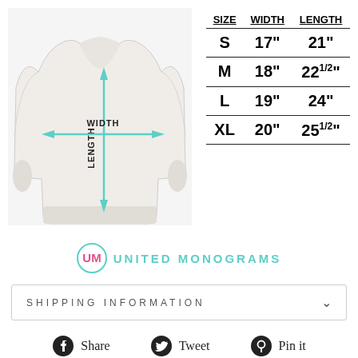[Figure (photo): White crewneck sweatshirt with teal/mint measurement arrows showing WIDTH (horizontal) and LENGTH (vertical) dimensions overlaid on the garment.]
| SIZE | WIDTH | LENGTH |
| --- | --- | --- |
| S | 17" | 21" |
| M | 18" | 22 1/2" |
| L | 19" | 24" |
| XL | 20" | 25 1/2" |
[Figure (logo): United Monograms logo: teal circle with UM initials in pink, followed by UNITED MONOGRAMS in teal uppercase lettered text.]
SHIPPING INFORMATION
Share  Tweet  Pin it